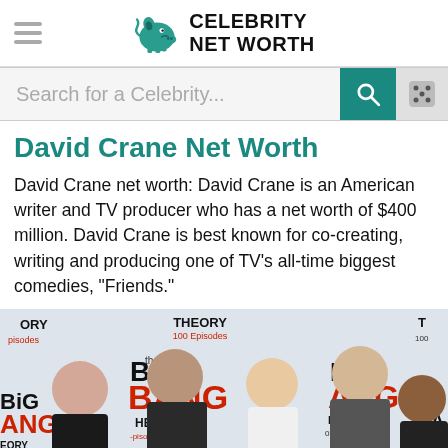Celebrity Net Worth
David Crane Net Worth
David Crane net worth: David Crane is an American writer and TV producer who has a net worth of $400 million. David Crane is best known for co-creating, writing and producing one of TV's all-time biggest comedies, "Friends."
[Figure (photo): Group photo of cast/crew at The Big Bang Theory 100 Episodes event, showing five people posing in front of branded backdrop]